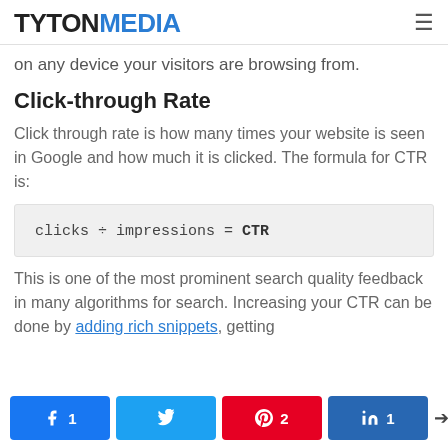TYTONMEDIA
on any device your visitors are browsing from.
Click-through Rate
Click through rate is how many times your website is seen in Google and how much it is clicked. The formula for CTR is:
This is one of the most prominent search quality feedback in many algorithms for search. Increasing your CTR can be done by adding rich snippets, getting